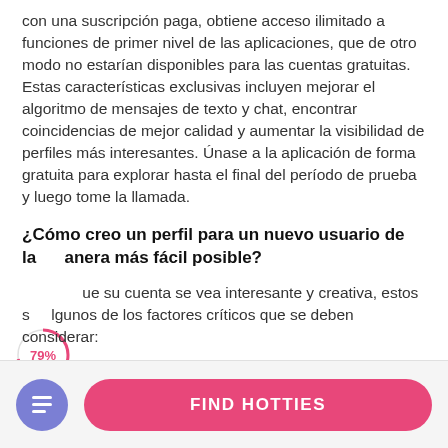con una suscripción paga, obtiene acceso ilimitado a funciones de primer nivel de las aplicaciones, que de otro modo no estarían disponibles para las cuentas gratuitas. Estas características exclusivas incluyen mejorar el algoritmo de mensajes de texto y chat, encontrar coincidencias de mejor calidad y aumentar la visibilidad de perfiles más interesantes. Únase a la aplicación de forma gratuita para explorar hasta el final del período de prueba y luego tome la llamada.
¿Cómo creo un perfil para un nuevo usuario de la manera más fácil posible?
que su cuenta se vea interesante y creativa, estos son algunos de los factores críticos que se deben considerar:
[Figure (infographic): A circular progress indicator showing 79% in pink/red outline on white background, overlapping the left side of the text.]